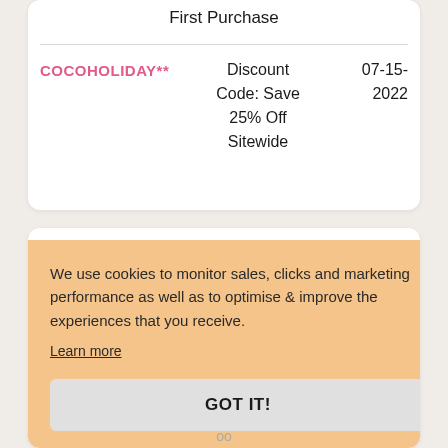| Code | Description | Date |
| --- | --- | --- |
| COCOHOLIDAY** | Discount Code: Save 25% Off Sitewide | 07-15-2022 |
We use cookies to monitor sales, clicks and marketing performance as well as to optimise & improve the experiences that you receive.
Learn more
GOT IT!